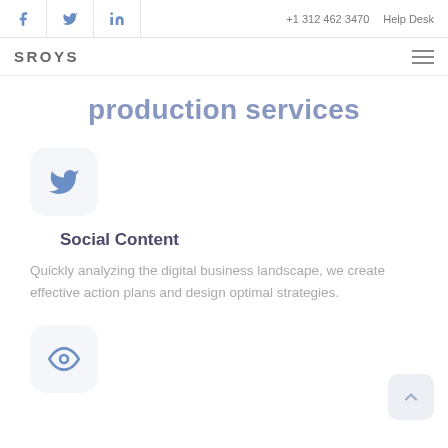+1 312 462 3470   Help Desk
SROYS
production services
[Figure (illustration): Twitter bird icon inside a rounded square box with light grey background]
Social Content
Quickly analyzing the digital business landscape, we create effective action plans and design optimal strategies.
[Figure (illustration): Eye icon inside a rounded square box with light grey background]